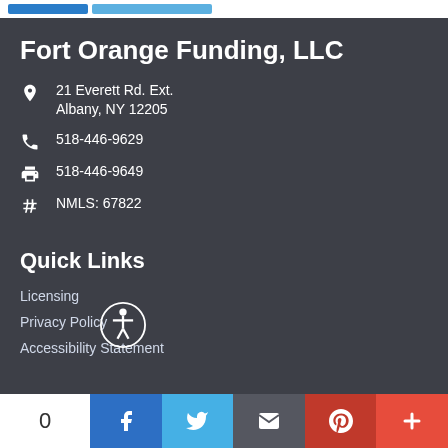Fort Orange Funding, LLC
21 Everett Rd. Ext.
Albany, NY 12205
518-446-9629
518-446-9649
NMLS: 67822
Quick Links
Licensing
Privacy Policy
Accessibility Statement